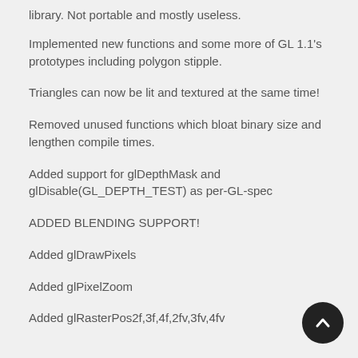library. Not portable and mostly useless.
Implemented new functions and some more of GL 1.1's prototypes including polygon stipple.
Triangles can now be lit and textured at the same time!
Removed unused functions which bloat binary size and lengthen compile times.
Added support for glDepthMask and glDisable(GL_DEPTH_TEST) as per-GL-spec
ADDED BLENDING SUPPORT!
Added glDrawPixels
Added glPixelZoom
Added glRasterPos2f,3f,4f,2fv,3fv,4fv